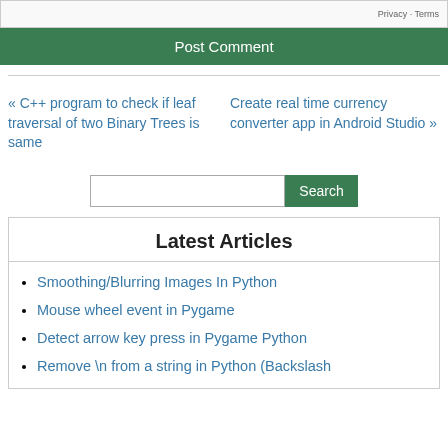[Figure (other): ReCAPTCHA bar with Privacy and Terms links]
Post Comment
« C++ program to check if leaf traversal of two Binary Trees is same
Create real time currency converter app in Android Studio »
[Figure (other): Search input box with Search button]
Latest Articles
Smoothing/Blurring Images In Python
Mouse wheel event in Pygame
Detect arrow key press in Pygame Python
Remove \n from a string in Python (Backslash